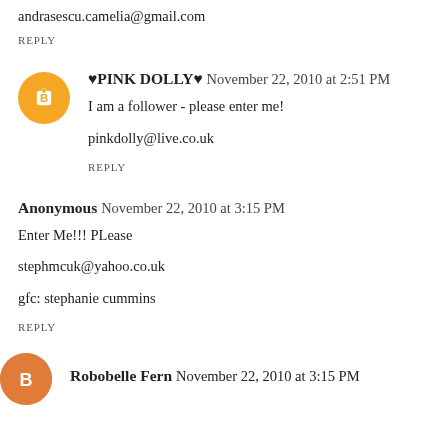andrasescu.camelia@gmail.com
REPLY
♥PINK DOLLY♥ November 22, 2010 at 2:51 PM
I am a follower - please enter me!
pinkdolly@live.co.uk
REPLY
Anonymous November 22, 2010 at 3:15 PM
Enter Me!!! PLease
stephmcuk@yahoo.co.uk
gfc: stephanie cummins
REPLY